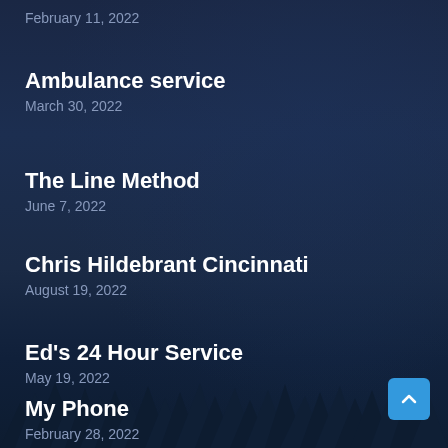February 11, 2022
Ambulance service
March 30, 2022
The Line Method
June 7, 2022
Chris Hildebrant Cincinnati
August 19, 2022
Ed's 24 Hour Service
May 19, 2022
My Phone
February 28, 2022